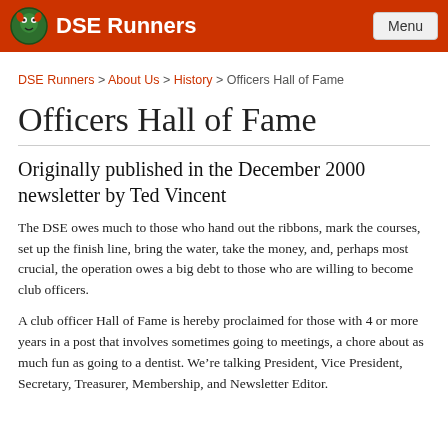DSE Runners
DSE Runners > About Us > History > Officers Hall of Fame
Officers Hall of Fame
Originally published in the December 2000 newsletter by Ted Vincent
The DSE owes much to those who hand out the ribbons, mark the courses, set up the finish line, bring the water, take the money, and, perhaps most crucial, the operation owes a big debt to those who are willing to become club officers.
A club officer Hall of Fame is hereby proclaimed for those with 4 or more years in a post that involves sometimes going to meetings, a chore about as much fun as going to a dentist. We're talking President, Vice President, Secretary, Treasurer, Membership, and Newsletter Editor.